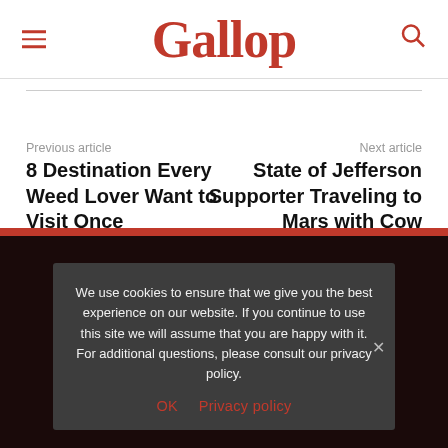Gallup
Previous article
8 Destination Every Weed Lover Want to Visit Once
Next article
State of Jefferson Supporter Traveling to Mars with Cow Anuses
We use cookies to ensure that we give you the best experience on our website. If you continue to use this site we will assume that you are happy with it. For additional questions, please consult our privacy policy.
OK  Privacy policy